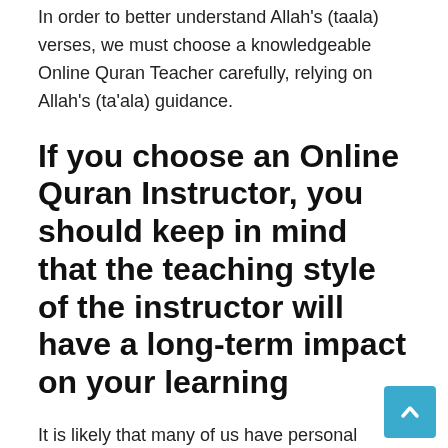In order to better understand Allah's (taala) verses, we must choose a knowledgeable Online Quran Teacher carefully, relying on Allah's (ta'ala) guidance.
If you choose an Online Quran Instructor, you should keep in mind that the teaching style of the instructor will have a long-term impact on your learning
It is likely that many of us have personal experience with the difference between